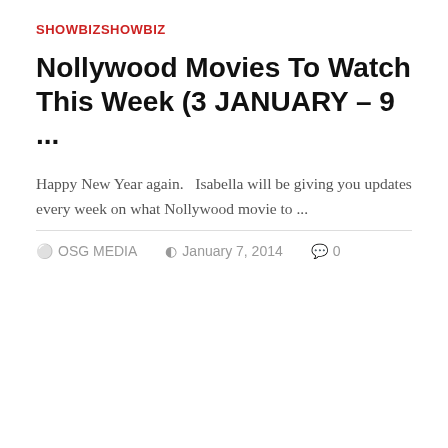SHOWBIZSHOWBIZ
Nollywood Movies To Watch This Week (3 JANUARY – 9 ...
Happy New Year again.   Isabella will be giving you updates every week on what Nollywood movie to ...
OSG MEDIA   January 7, 2014   0